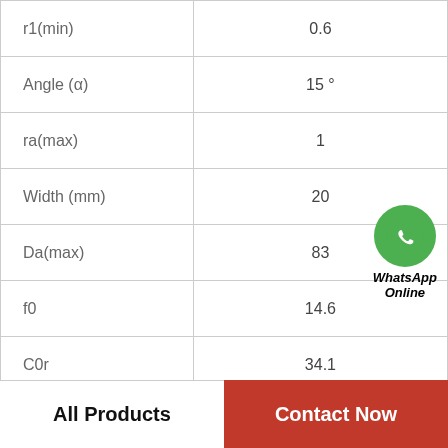| Parameter | Value |
| --- | --- |
| r1(min) | 0.6 |
| Angle (α) | 15 ° |
| ra(max) | 1 |
| Width (mm) | 20 |
| Da(max) | 83 |
| f0 | 14.6 |
| C0r | 34.1 |
| a(mm) | 19.4 |
| da(min) | 57 |
[Figure (logo): WhatsApp Online green circle logo with phone icon and text 'WhatsApp Online']
All Products   Contact Now